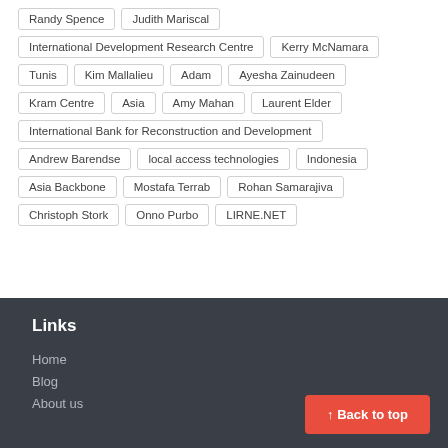Randy Spence
Judith Mariscal
International Development Research Centre
Kerry McNamara
Tunis
Kim Mallalieu
Adam
Ayesha Zainudeen
Kram Centre
Asia
Amy Mahan
Laurent Elder
International Bank for Reconstruction and Development
Andrew Barendse
local access technologies
Indonesia
Asia Backbone
Mostafa Terrab
Rohan Samarajiva
Christoph Stork
Onno Purbo
LIRNE.NET
Links
Home
Blog
About us
↑ Back to top